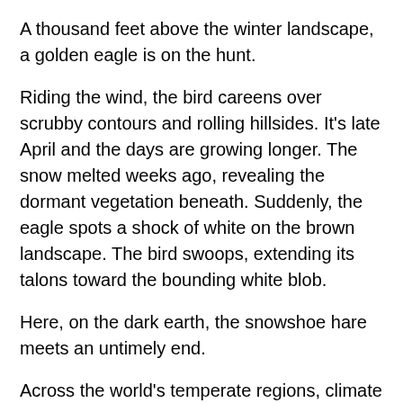A thousand feet above the winter landscape, a golden eagle is on the hunt.
Riding the wind, the bird careens over scrubby contours and rolling hillsides. It's late April and the days are growing longer. The snow melted weeks ago, revealing the dormant vegetation beneath. Suddenly, the eagle spots a shock of white on the brown landscape. The bird swoops, extending its talons toward the bounding white blob.
Here, on the dark earth, the snowshoe hare meets an untimely end.
Across the world's temperate regions, climate change is toying with the survival strategies of winter-adapted animals. Twenty-one species, from lemmings to ptarmigans, cope with the changing of the seasons by